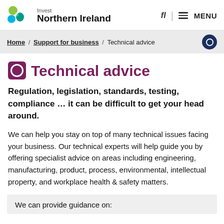Invest Northern Ireland
Home / Support for business / Technical advice
Technical advice
Regulation, legislation, standards, testing, compliance … it can be difficult to get your head around.
We can help you stay on top of many technical issues facing your business. Our technical experts will help guide you by offering specialist advice on areas including engineering, manufacturing, product, process, environmental, intellectual property, and workplace health & safety matters.
We can provide guidance on: